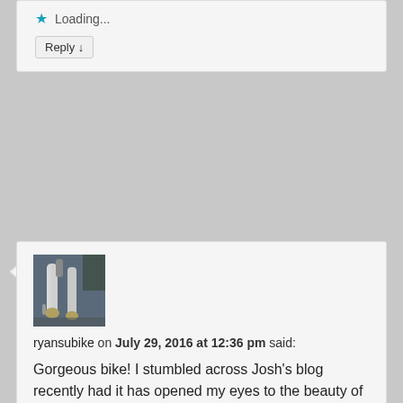Loading...
Reply ↓
[Figure (photo): Bicycle handlebar detail photo used as commenter avatar]
ryansubike on July 29, 2016 at 12:36 pm said:
Gorgeous bike! I stumbled across Josh's blog recently had it has opened my eyes to the beauty of late 70's to mid 80's Japanese built touring frames and your Centurion was stunning
Loading...
Reply ↓
Nola Wilken